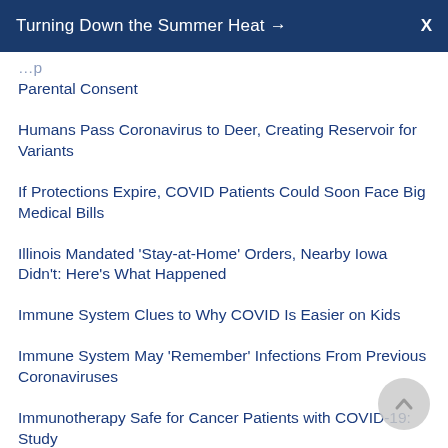Turning Down the Summer Heat →  X
Parental Consent
Humans Pass Coronavirus to Deer, Creating Reservoir for Variants
If Protections Expire, COVID Patients Could Soon Face Big Medical Bills
Illinois Mandated 'Stay-at-Home' Orders, Nearby Iowa Didn't: Here's What Happened
Immune System Clues to Why COVID Is Easier on Kids
Immune System May 'Remember' Infections From Previous Coronaviruses
Immunotherapy Safe for Cancer Patients with COVID-19: Study
In 10 Years, COVID-19 Could Be 'Just the Sniffles'
In Early Trial, an Ancient Drug Shows Promise Against